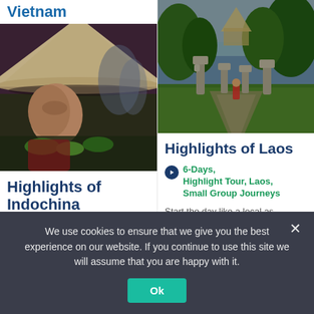Vietnam
[Figure (photo): Close-up of a Vietnamese woman wearing a traditional conical hat at a market with vegetables visible in the background]
Highlights of Indochina
[Figure (photo): Aerial/elevated view of a Buddhist temple garden or sculpture park in Laos with stone statues and lush green trees]
Highlights of Laos
6-Days, Highlight Tour, Laos, Small Group Journeys
Start the day like a local as
We use cookies to ensure that we give you the best experience on our website. If you continue to use this site we will assume that you are happy with it.